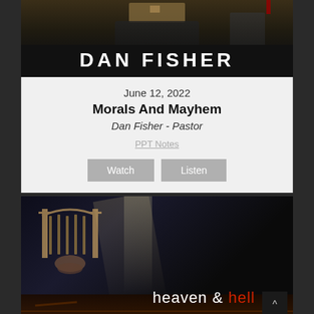[Figure (photo): Photo of Dan Fisher preaching at a podium, dark background, with 'DAN FISHER' text overlay in large white bold letters]
June 12, 2022
Morals And Mayhem
Dan Fisher - Pastor
PPT Notes
Watch   Listen
[Figure (illustration): Dark dramatic illustration showing a hand holding gates (heaven's gates with crosses) above a hellish landscape, with text 'heaven & hell' in white and red]